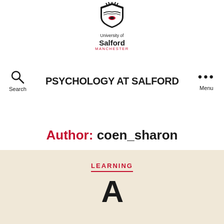[Figure (logo): University of Salford Manchester logo with shield emblem and text]
PSYCHOLOGY AT SALFORD
Author: coen_sharon
LEARNING
A (partial article title visible at bottom)